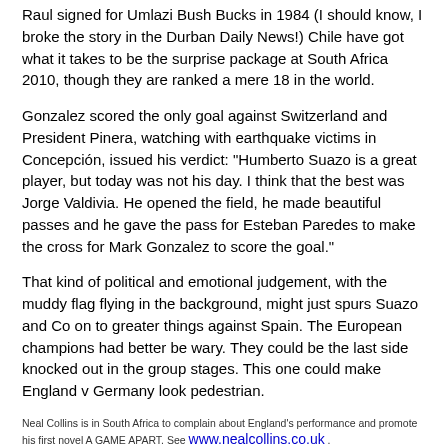Raul signed for Umlazi Bush Bucks in 1984 (I should know, I broke the story in the Durban Daily News!) Chile have got what it takes to be the surprise package at South Africa 2010, though they are ranked a mere 18 in the world.
Gonzalez scored the only goal against Switzerland and President Pinera, watching with earthquake victims in Concepción, issued his verdict: "Humberto Suazo is a great player, but today was not his day. I think that the best was Jorge Valdivia. He opened the field, he made beautiful passes and he gave the pass for Esteban Paredes to make the cross for Mark Gonzalez to score the goal."
That kind of political and emotional judgement, with the muddy flag flying in the background, might just spurs Suazo and Co on to greater things against Spain. The European champions had better be wary. They could be the last side knocked out in the group stages. This one could make England v Germany look pedestrian.
Neal Collins is in South Africa to complain about England's performance and promote his first novel A GAME APART. See www.nealcollins.co.uk .